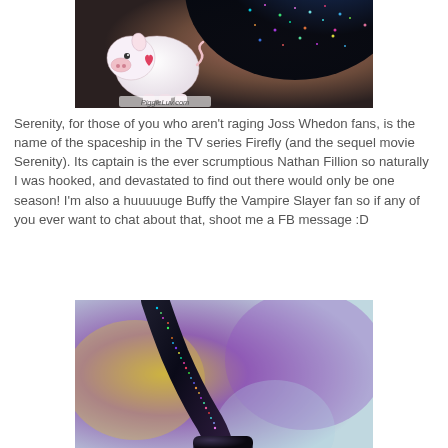[Figure (photo): Close-up macro photo of a dark glittery sphere/nail, with a small white pig figurine (PiggieLuv.com watermark) in the foreground left. Dark bokeh background.]
Serenity, for those of you who aren't raging Joss Whedon fans, is the name of the spaceship in the TV series Firefly (and the sequel movie Serenity). Its captain is the ever scrumptious Nathan Fillion so naturally I was hooked, and devastated to find out there would only be one season! I'm also a huuuuuge Buffy the Vampire Slayer fan so if any of you ever want to chat about that, shoot me a FB message :D
[Figure (photo): Macro close-up photo of a dark black/purple glitter nail polish bottle cap/brush handle against a blurred colorful background with purple and yellow tones.]